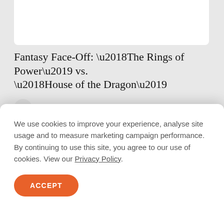Fantasy Face-Off: ‘The Rings of Power’ vs. ‘House of the Dragon’
NYT  The New York Times
[Figure (illustration): Partial globe/ball illustration visible at bottom of white card]
We use cookies to improve your experience, analyse site usage and to measure marketing campaign performance. By continuing to use this site, you agree to our use of cookies. View our Privacy Policy.
ACCEPT